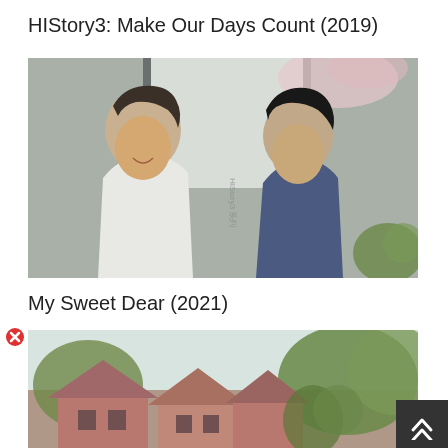HIStory3: Make Our Days Count (2019)
[Figure (photo): Promotional photo from HIStory3: Make Our Days Count showing two young men facing each other closely, one in white shirt and one in dark blue, with cherry blossoms visible in background]
My Sweet Dear (2021)
[Figure (photo): Partially loaded promotional image for My Sweet Dear showing old red/pink brick buildings surrounded by green trees and foliage, with a light sky background. A broken image icon (red circle with X) appears at top-left and a scroll-to-top button (dark box with double up-arrow) at bottom-right.]